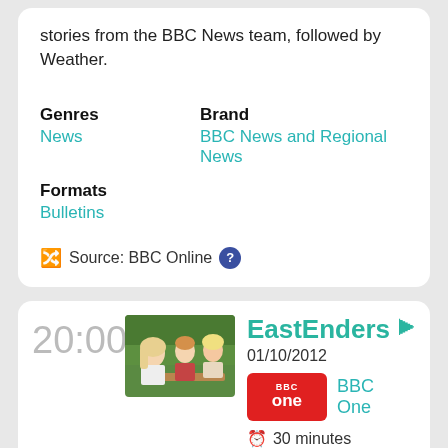stories from the BBC News team, followed by Weather.
Genres
News
Brand
BBC News and Regional News
Formats
Bulletins
Source: BBC Online
20:00
[Figure (photo): Three people (two children and a woman) sitting outdoors at a table with green hedges in background.]
EastEnders
01/10/2012
BBC One
30 minutes